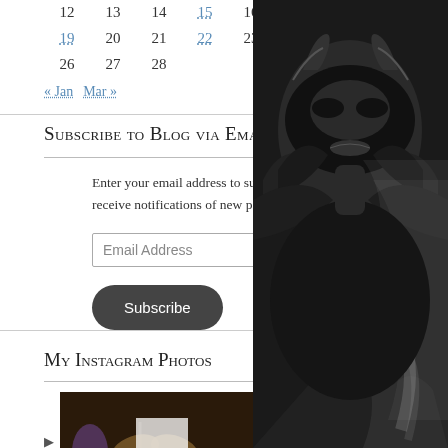| 12 | 13 | 14 | 15 | 16 | 17 | 18 |
| 19 | 20 | 21 | 22 | 23 | 24 | 25 |
| 26 | 27 | 28 |
« Jan   Mar »
Subscribe to Blog via Email
Enter your email address to subscribe to this blog and receive notifications of new posts by email.
Email Address
Subscribe
My Instagram Photos
[Figure (photo): Instagram photo of a hummingbird moth on purple flowers]
[Figure (photo): Instagram photo of a dragonfly on a green plant]
[Figure (photo): Black and white photo of a person wearing a decorative mask with feathers and a veil]